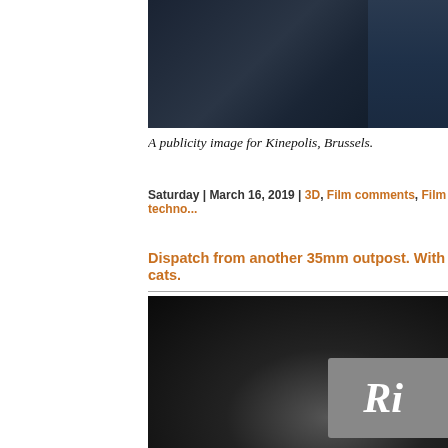[Figure (photo): Dark interior image, a publicity image for Kinepolis cinema in Brussels, showing a dark auditorium or projection room environment.]
A publicity image for Kinepolis, Brussels.
Saturday | March 16, 2019 | 3D, Film comments, Film techno...
Dispatch from another 35mm outpost. With cats.
[Figure (photo): Black and white photo, dark background with a sign or marquee partially visible on the right, showing cursive lettering starting with what appears to be 'Ri' or similar.]